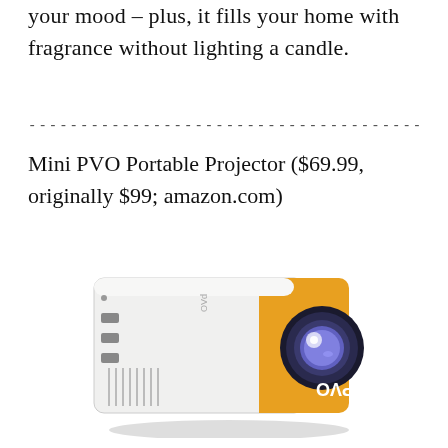your mood – plus, it fills your home with fragrance without lighting a candle.
------------------------------------------------
Mini PVO Portable Projector ($69.99, originally $99; amazon.com)
[Figure (photo): Mini PVO Portable Projector – small white and orange rectangular projector with lens on right side and PVO branding on orange panel]